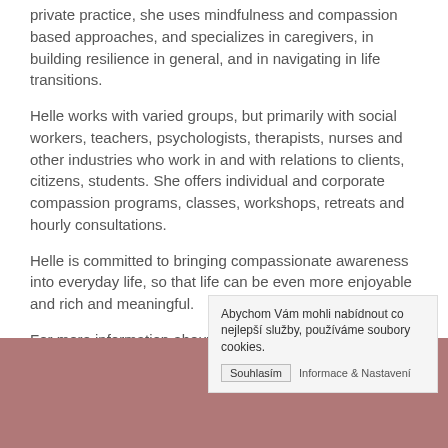private practice, she uses mindfulness and compassion based approaches, and specializes in caregivers, in building resilience in general, and in navigating in life transitions.
Helle works with varied groups, but primarily with social workers, teachers, psychologists, therapists, nurses and other industries who work in and with relations to clients, citizens, students. She offers individual and corporate compassion programs, classes, workshops, retreats and hourly consultations.
Helle is committed to bringing compassionate awareness into everyday life, so that life can be even more enjoyable and rich and meaningful.
For more information about Helle, please visit her website,  nordic-compassion.dk.
Abychom Vám mohli nabídnout co nejlepší služby, používáme soubory cookies. Souhlasím  Informace & Nastavení